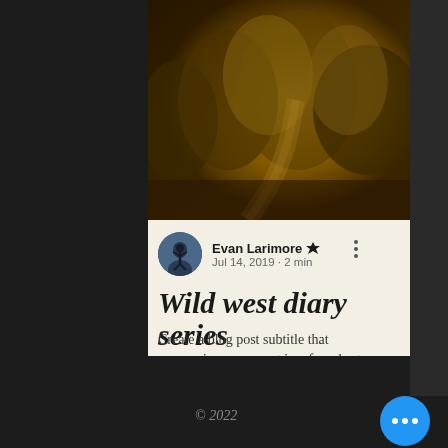[Figure (photo): Nature/forest landscape photo strip at top of card — golden-brown tones, outdoor trail scene]
Evan Larimore 👑
Jul 14, 2019 · 2 min
Wild west diary series
Create a blog post subtitle that summarizes your post in a few short, punchy sentences and entices your a…
0  0
© 2022